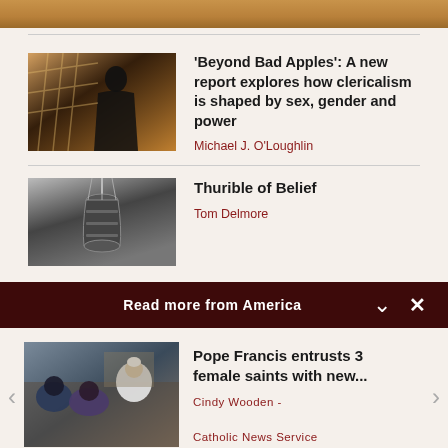[Figure (photo): Top partial image strip showing cropped photo]
[Figure (photo): Silhouette of person praying with warm orange lattice background]
'Beyond Bad Apples': A new report explores how clericalism is shaped by sex, gender and power
Michael J. O'Loughlin
[Figure (photo): Black and white photo of an ornate thurible hanging]
Thurible of Belief
Tom Delmore
Read more from America
[Figure (photo): Pope Francis meeting with a group of people, seated in discussion]
Pope Francis entrusts 3 female saints with new...
Cindy Wooden -

Catholic News Service